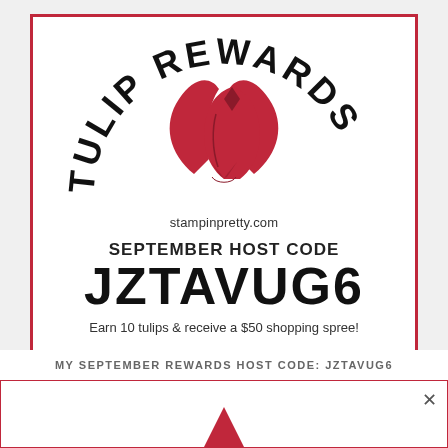[Figure (logo): Tulip Rewards loyalty program card with arched 'TULIP REWARDS' text, red tulip logo, stampinpretty.com website, September Host Code JZTAVUG6, earn 10 tulips & receive a $50 shopping spree tagline, and a row of red tulip icons.]
MY SEPTEMBER REWARDS HOST CODE: JZTAVUG6